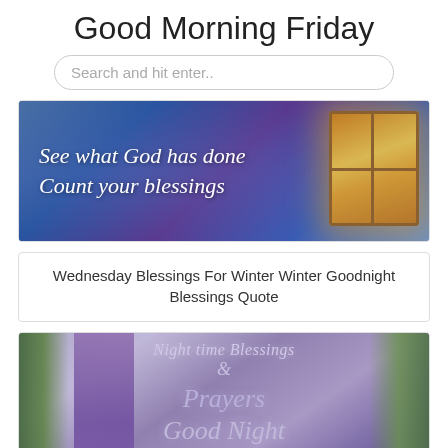Good Morning Friday
Search and hit enter..
[Figure (illustration): Winter night scene with cursive white text 'See what God has done Count your blessings' over a blue/purple snowy background with a glowing warm window on the right]
Wednesday Blessings For Winter Winter Goodnight Blessings Quote
[Figure (illustration): Night blessings greeting image with cursive purple/lavender text 'Night time Blessings & Prayers Good Night' on a purple-toned background with green plants on sides and a purple ribbon panel on left]